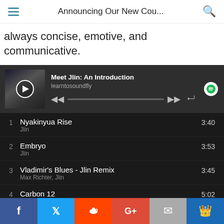Announcing Our New Cou...
always concise, emotive, and communicative.
[Figure (screenshot): Spotify embedded player showing playlist 'Meet Jlin: An Introduction' by learntosoundfly with album art and playback controls]
1  Nyakinyua Rise  Jlin  3:40
2  Embryo  Jlin  3:53
3  Vladimir's Blues - Jlin Remix  Max Richter, Jlin  3:45
4  Carbon 12  Jlin  5:02
5  Carbon 7 (161)  Jlin  4:13
[Figure (screenshot): Social sharing buttons: Facebook, Twitter, Reddit, Google+, Email, Bookmark]